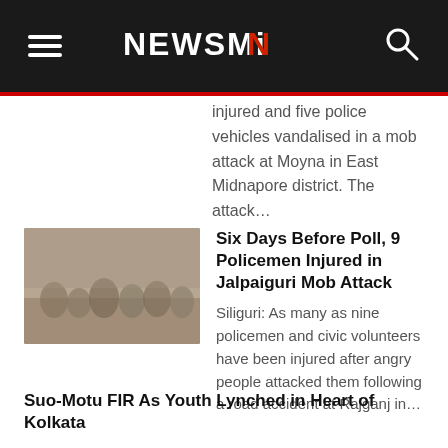NEWSMiN
injured and five police vehicles vandalised in a mob attack at Moyna in East Midnapore district. The attack…
Six Days Before Poll, 9 Policemen Injured in Jalpaiguri Mob Attack
Siliguri: As many as nine policemen and civic volunteers have been injured after angry people attacked them following a road accident at Rajganj in…
Suo-Motu FIR As Youth Lynched in Heart of Kolkata